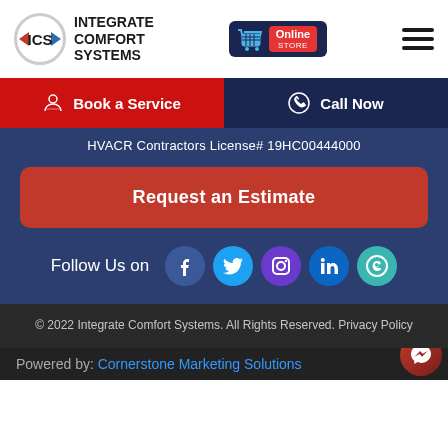[Figure (logo): ICS Integrate Comfort Systems logo with circular arrow icon and brand name]
[Figure (logo): Online Store button with shopping cart icon]
[Figure (other): Hamburger menu icon with three horizontal lines]
Book a Service
Call Now
HVACR Contractors License# 19HC00444000
Request an Estimate
Follow Us on
[Figure (other): Social media icons: Facebook, Twitter, Instagram, LinkedIn, Google My Business]
© 2022 Integrate Comfort Systems. All Rights Reserved. Privacy Policy
Powered by: Cornerstone Marketing Solutions